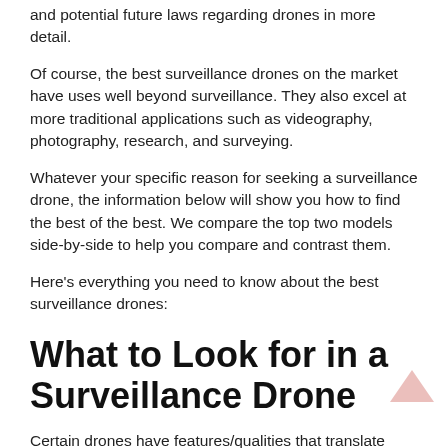and potential future laws regarding drones in more detail.
Of course, the best surveillance drones on the market have uses well beyond surveillance. They also excel at more traditional applications such as videography, photography, research, and surveying.
Whatever your specific reason for seeking a surveillance drone, the information below will show you how to find the best of the best. We compare the top two models side-by-side to help you compare and contrast them.
Here's everything you need to know about the best surveillance drones:
What to Look for in a Surveillance Drone
Certain drones have features/qualities that translate